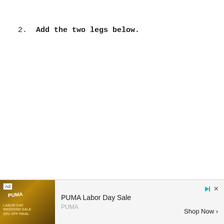2. Add the two legs below.
[Figure (other): Advertisement banner for PUMA Labor Day Sale with an image of a person wearing PUMA sportswear, an Ad label, close/play icons, brand name PUMA, and Shop Now button]